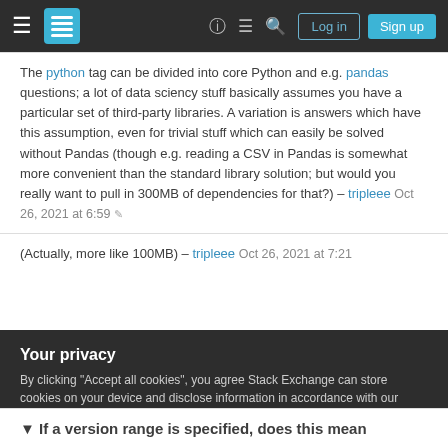Stack Exchange navigation bar with Log in and Sign up buttons
The python tag can be divided into core Python and e.g. pandas questions; a lot of data sciency stuff basically assumes you have a particular set of third-party libraries. A variation is answers which have this assumption, even for trivial stuff which can easily be solved without Pandas (though e.g. reading a CSV in Pandas is somewhat more convenient than the standard library solution; but would you really want to pull in 300MB of dependencies for that?) – tripleee Oct 26, 2021 at 6:59
(Actually, more like 100MB) – tripleee Oct 26, 2021 at 7:21
Your privacy
By clicking "Accept all cookies", you agree Stack Exchange can store cookies on your device and disclose information in accordance with our Cookie Policy.
If a version range is specified, does this mean